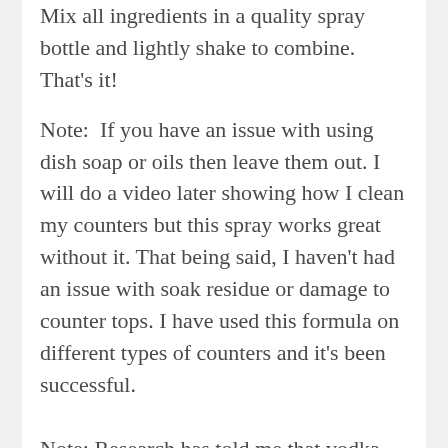Mix all ingredients in a quality spray bottle and lightly shake to combine. That's it!
Note:  If you have an issue with using dish soap or oils then leave them out. I will do a video later showing how I clean my counters but this spray works great without it. That being said, I haven't had an issue with soak residue or damage to counter tops. I have used this formula on different types of counters and it's been successful.
Note: Research has told me that vodka might not be strong enough to kill germs like salmonella. Half of the internet says yes, half doesn't. To be on the safe side I would suggest using something stronger such as white